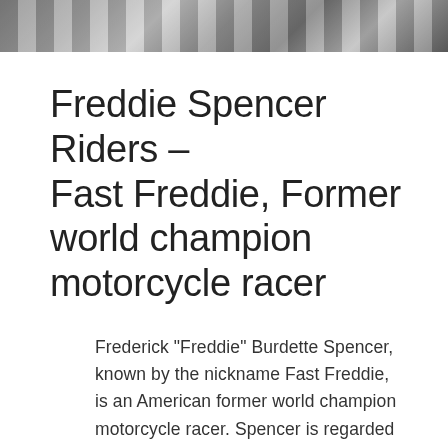[Figure (photo): Partial photo strip at the top of the page showing a checkered flag or black-and-white pattern, partially cropped]
Freddie Spencer Riders – Fast Freddie, Former world champion motorcycle racer
Frederick “Freddie” Burdette Spencer, known by the nickname Fast Freddie, is an American former world champion motorcycle racer. Spencer is regarded as one of the greatest motorcycle racers of the early 1980s